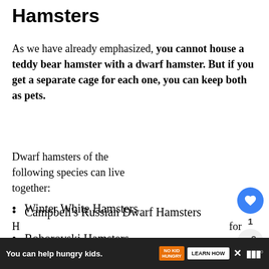Hamsters
As we have already emphasized, you cannot house a teddy bear hamster with a dwarf hamster. But if you get a separate cage for each one, you can keep both as pets.
Dwarf hamsters of the following species can live together:
Winter White Hamsters
Roborovski Hamsters
Campbell's Russian Dwarf Hamsters
[Figure (infographic): Social sidebar with heart/like button showing count 1, and share button]
[Figure (infographic): What's Next widget showing a hamster thumbnail image with label WHAT'S NEXT and text 'What Type of Hamsters C...']
H ... for
[Figure (infographic): Advertisement banner: 'You can help hungry kids.' with No Kid Hungry logo and LEARN HOW button]